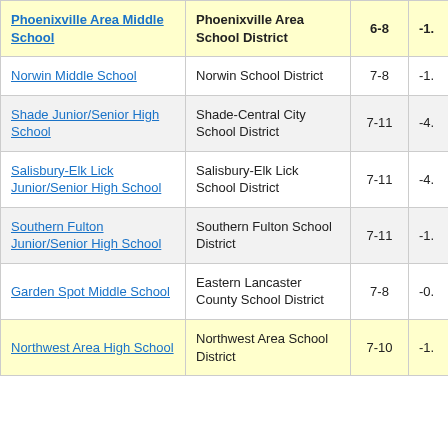| School | District | Grades | Score |
| --- | --- | --- | --- |
| Phoenixville Area Middle School | Phoenixville Area School District | 6-8 | -1. |
| Norwin Middle School | Norwin School District | 7-8 | -1. |
| Shade Junior/Senior High School | Shade-Central City School District | 7-11 | -4. |
| Salisbury-Elk Lick Junior/Senior High School | Salisbury-Elk Lick School District | 7-11 | -4. |
| Southern Fulton Junior/Senior High School | Southern Fulton School District | 7-11 | -1. |
| Garden Spot Middle School | Eastern Lancaster County School District | 7-8 | -0. |
| Northwest Area High School | Northwest Area School District | 7-10 | -1. |